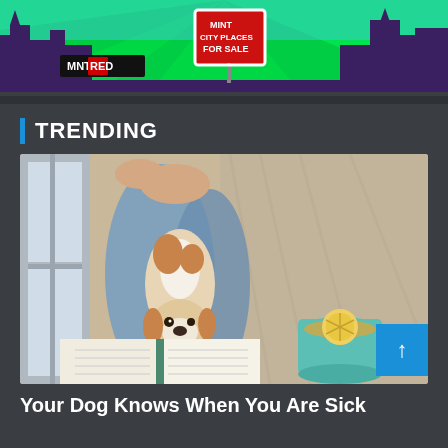[Figure (illustration): Mint City Places For Sale banner advertisement with colorful city skyline graphic, green rays background, featuring MNTRED logo on left and a For Sale sign in the center]
TRENDING
[Figure (photo): A dog (Jack Russell Terrier mix) resting between a person's legs while the person reads a book. A teal mug with lemon tea sits nearby on a blanket.]
Your Dog Knows When You Are Sick